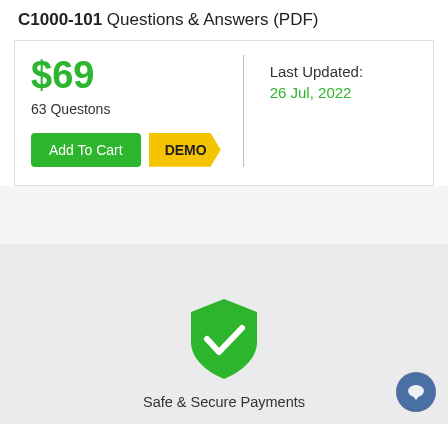C1000-101 Questions & Answers (PDF)
$69
63 Questons
Last Updated: 26 Jul, 2022
[Figure (illustration): Green shield with white checkmark icon representing secure/safe payments]
Safe & Secure Payments